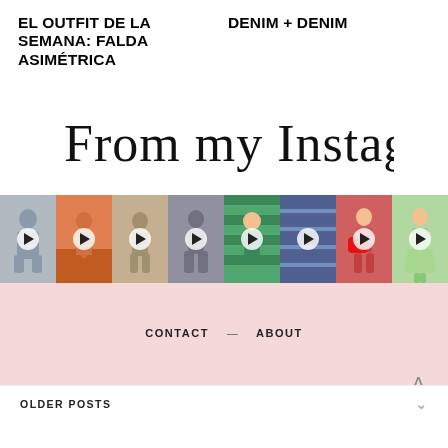EL OUTFIT DE LA SEMANA: FALDA ASIMÉTRICA
DENIM + DENIM
From my Instagram
[Figure (photo): Row of 8 Instagram thumbnail images showing fashion and lifestyle photos, each with a play button overlay]
CONTACT — ABOUT
OLDER POSTS